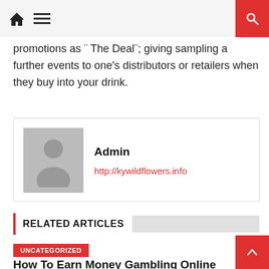[navigation bar with home icon, menu icon, and search button]
promotions as " The Deal"; giving sampling a further events to one's distributors or retailers when they buy into your drink.
Admin
http://kywildflowers.info
RELATED ARTICLES
UNCATEGORIZED
How To Earn Money Gambling Online
December 19, 2021   admin
Online gambling has been allowed in certain states and also other parts from the world, while in the fact, experts one for this 'other' ways